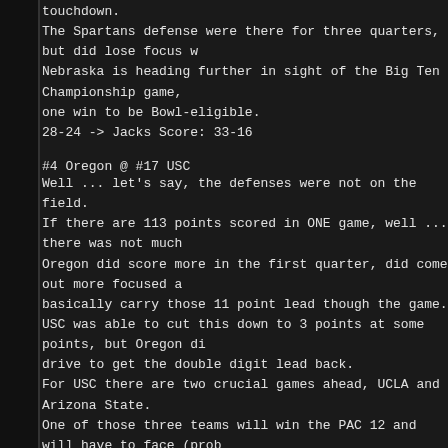touchdown.
The Spartans defense were there for three quarters, but did lose focus w... Nebraska is heading further in sight of the Big Ten Championship game, ... one win to be Bowl-eligible.
28-24 -> Jacks Score: 33-16
#4 Oregon @ #17 USC
Well ... let's say, the defenses were not on the field. If there are 113 points scored in ONE game, well ... there was not much ... Oregon did score more in the first quarter, did come out more focused a... basically carry those 11 point lead though the game. USC was able to cut this down to 3 points at some points, but Oregon di... drive to get the double digit lead back. For USC there are two crucial games ahead, UCLA and Arizona State. One of those three teams will win the PAC 12 and will have to face (prob... Civil War) Oregon in the Championship game. Oregon has to play Cal, Stanford and the Civil War against Oregon State... It looks good for Oregon to reach the PAC 12 Championship unbeaten a...
62-51 -> Jacks Score: 34-16
#1 Alabama @ #4 LSU
It really was a hard fought game and LSU almost had it in their pocket. LSU did score the 17-14 lead in the beginning of the fourth quarter. It looked good and the Death Valley magic started to work. Two times it was 3 and OUT for Alabama.